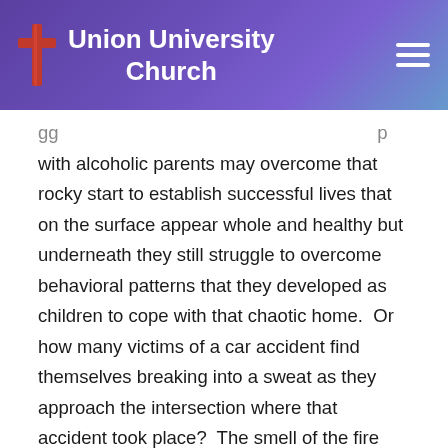Union University Church
with alcoholic parents may overcome that rocky start to establish successful lives that on the surface appear whole and healthy but underneath they still struggle to overcome behavioral patterns that they developed as children to cope with that chaotic home.  Or how many victims of a car accident find themselves breaking into a sweat as they approach the intersection where that accident took place?  The smell of the fire lingers still. Parents who lose a child in a tragedy will often for the rest of their lives carry not only the grief of that loss but the torment of guilt wondering if they might have prevented the tragedy somehow or they may develop an unhealthy overprotectiveness toward their other children fearing that such a loss might occur again.  These are the people — maybe you are among them — who survived the flames of